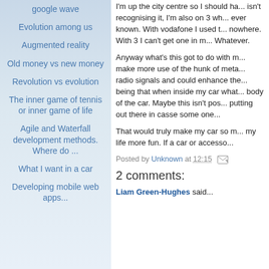google wave
Evolution among us
Augmented reality
Old money vs new money
Revolution vs evolution
The inner game of tennis or inner game of life
Agile and Waterfall development methods. Where do ...
What I want in a car
Developing mobile web apps...
I'm up the city centre so I should ha... isn't recognising it, I'm also on 3 wh... ever known. With vodafone I used t... nowhere. With 3 I can't get one in m... Whatever.
Anyway what's this got to do with m... make more use of the hunk of meta... radio signals and could enhance the... being that when inside my car what... body of the car. Maybe this isn't pos... putting out there in casse some one...
That would truly make my car so m... my life more fun. If a car or accesso...
Posted by Unknown at 12:15
2 comments:
Liam Green-Hughes said...